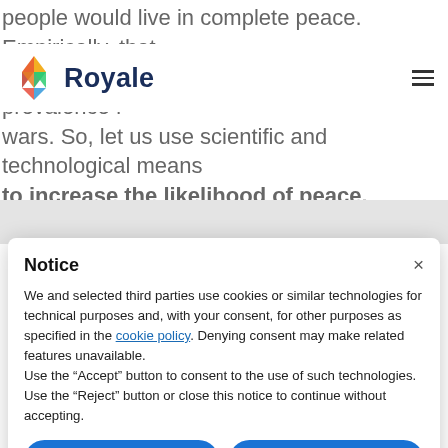people would live in complete peace. Empirically, that appears to be false, given the prevalence of wars. So, let us use scientific and technological means to increase the likelihood of peace.
[Figure (logo): Royale website logo with colorful geometric diamond shape and 'Royale' text in dark blue]
Notice
We and selected third parties use cookies or similar technologies for technical purposes and, with your consent, for other purposes as specified in the cookie policy. Denying consent may make related features unavailable.
Use the “Accept” button to consent to the use of such technologies. Use the “Reject” button or close this notice to continue without accepting.
Reject
Accept
Learn more and customize